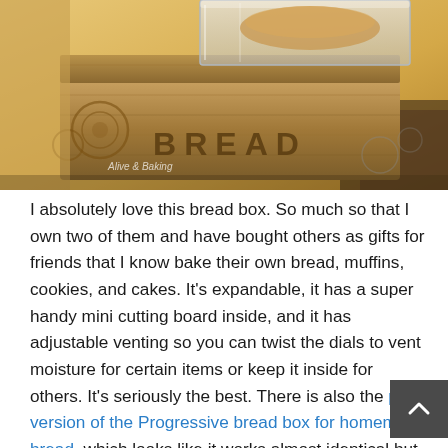[Figure (photo): A wooden bread box with 'BREAD' engraved on it, sitting on a wooden surface. A clear plastic container or lid is visible on top. There is a watermark reading 'Alive & Baking' in the lower left area of the image.]
I absolutely love this bread box. So much so that I own two of them and have bought others as gifts for friends that I know bake their own bread, muffins, cookies, and cakes. It's expandable, it has a super handy mini cutting board inside, and it has adjustable venting so you can twist the dials to vent moisture for certain items or keep it inside for others. It's seriously the best. There is also the pro version of the Progressive bread box for homemade bread, which looks like it works almost identical but the front flips open and you can use that as